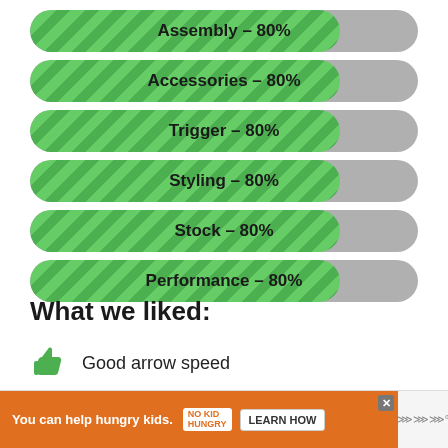[Figure (bar-chart): Rating bars]
What we liked:
Good arrow speed
Accurate
Lightweight
[Figure (other): Advertisement banner: You can help hungry kids. No Kid Hungry. Learn How.]